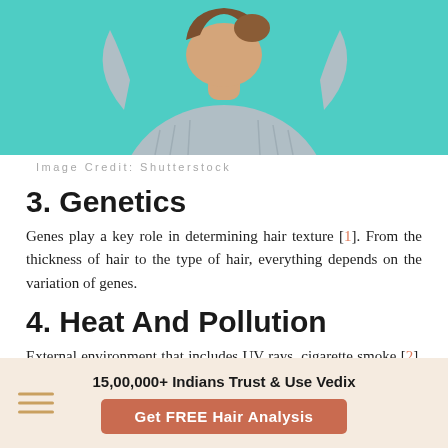[Figure (photo): Woman with hands behind head, wearing a blue-grey knit sweater, against a teal/mint background. Only torso and lower face visible.]
Image Credit: Shutterstock
3. Genetics
Genes play a key role in determining hair texture [1]. From the thickness of hair to the type of hair, everything depends on the variation of genes.
4. Heat And Pollution
External environment that includes UV rays, cigarette smoke [2], and pollution, reduces the level of protein in
15,00,000+ Indians Trust & Use Vedix
Get FREE Hair Analysis